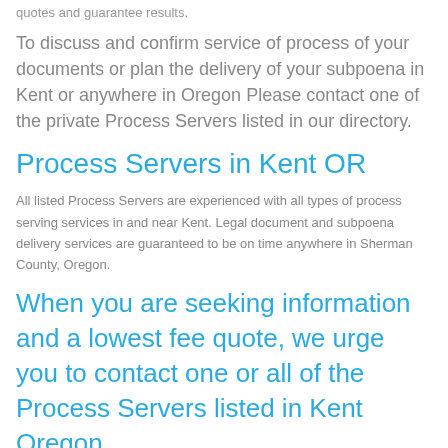quotes and guarantee results.
To discuss and confirm service of process of your documents or plan the delivery of your subpoena in Kent or anywhere in Oregon Please contact one of the private Process Servers listed in our directory.
Process Servers in Kent OR
All listed Process Servers are experienced with all types of process serving services in and near Kent. Legal document and subpoena delivery services are guaranteed to be on time anywhere in Sherman County, Oregon.
When you are seeking information and a lowest fee quote, we urge you to contact one or all of the Process Servers listed in Kent Oregon